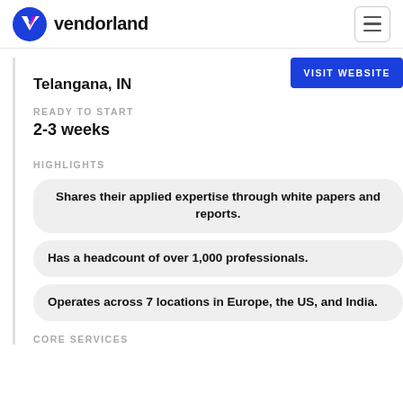vendorland
Telangana, IN
VISIT WEBSITE
READY TO START
2-3 weeks
HIGHLIGHTS
Shares their applied expertise through white papers and reports.
Has a headcount of over 1,000 professionals.
Operates across 7 locations in Europe, the US, and India.
CORE SERVICES